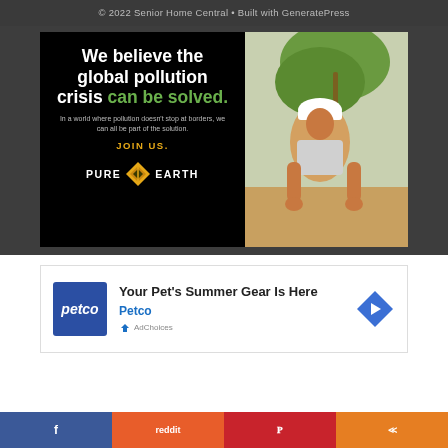© 2022 Senior Home Central • Built with GeneratePress
[Figure (illustration): Pure Earth advertisement banner. Left side black background with white bold text 'We believe the global pollution crisis can be solved.' in green, body text 'In a world where pollution doesn't stop at borders, we can all be part of the solution.', 'JOIN US.' in orange/yellow, and Pure Earth diamond logo with company name. Right side shows a photo of a man in a hard hat planting a seedling.]
[Figure (illustration): Petco advertisement: Petco blue logo box, text 'Your Pet's Summer Gear Is Here' with 'Petco' subtitle in blue, and a blue arrow icon on the right. AdChoices icon at bottom left.]
f  reddit  pinterest  share